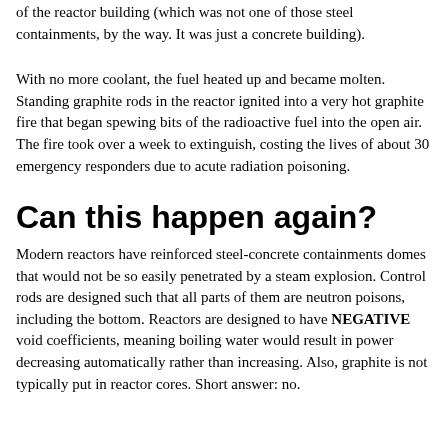of the reactor building (which was not one of those steel containments, by the way. It was just a concrete building).
With no more coolant, the fuel heated up and became molten. Standing graphite rods in the reactor ignited into a very hot graphite fire that began spewing bits of the radioactive fuel into the open air. The fire took over a week to extinguish, costing the lives of about 30 emergency responders due to acute radiation poisoning.
Can this happen again?
Modern reactors have reinforced steel-concrete containments domes that would not be so easily penetrated by a steam explosion. Control rods are designed such that all parts of them are neutron poisons, including the bottom. Reactors are designed to have NEGATIVE void coefficients, meaning boiling water would result in power decreasing automatically rather than increasing. Also, graphite is not typically put in reactor cores. Short answer: no.